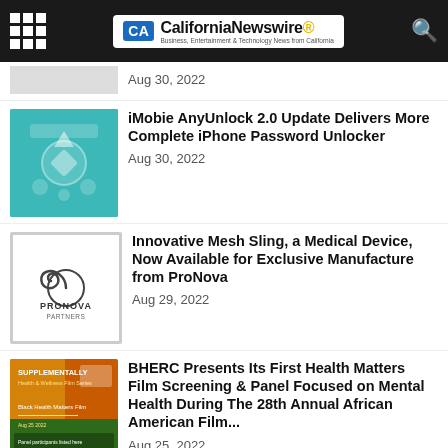CaliforniaNewswire® Business, Entertainment & Technology News from California
Aug 30, 2022
iMobie AnyUnlock 2.0 Update Delivers More Complete iPhone Password Unlocker
Aug 30, 2022
Innovative Mesh Sling, a Medical Device, Now Available for Exclusive Manufacture from ProNova
Aug 29, 2022
BHERC Presents Its First Health Matters Film Screening & Panel Focused on Mental Health During The 28th Annual African American Film...
Aug 25, 2022